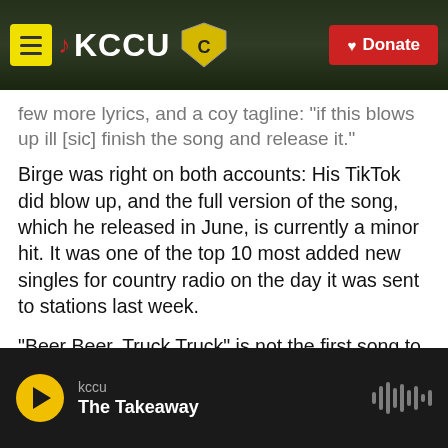[Figure (screenshot): KCCU radio website header with hamburger menu (yellow button), music note logo, KCCU text, shield logo, and red Donate button]
few more lyrics, and a coy tagline: "if this blows up ill [sic] finish the song and release it."
Birge was right on both accounts: His TikTok did blow up, and the full version of the song, which he released in June, is currently a minor hit. It was one of the top 10 most added new singles for country radio on the day it was sent to stations last week.
"Beer Beer, Truck Truck" is not the first song to spring from TikTok to the radio, but here's how it all came together over the last 10 months.
[Figure (screenshot): Audio player bar showing KCCU / The Takeaway with yellow play button and waveform icon]